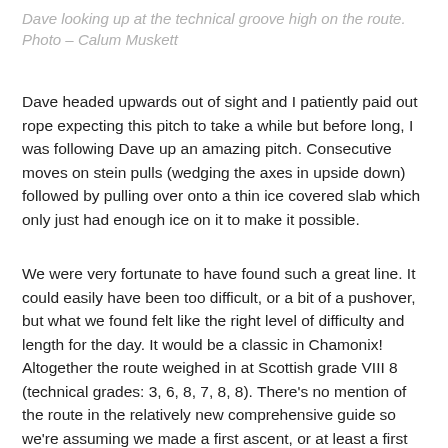Dave looking up at the technical groove high on the route. Photo – Calum Muskett
Dave headed upwards out of sight and I patiently paid out rope expecting this pitch to take a while but before long, I was following Dave up an amazing pitch. Consecutive moves on stein pulls (wedging the axes in upside down) followed by pulling over onto a thin ice covered slab which only just had enough ice on it to make it possible.
We were very fortunate to have found such a great line. It could easily have been too difficult, or a bit of a pushover, but what we found felt like the right level of difficulty and length for the day. It would be a classic in Chamonix! Altogether the route weighed in at Scottish grade VIII 8 (technical grades: 3, 6, 8, 7, 8, 8). There's no mention of the route in the relatively new comprehensive guide so we're assuming we made a first ascent, or at least a first winter conditions ascent.